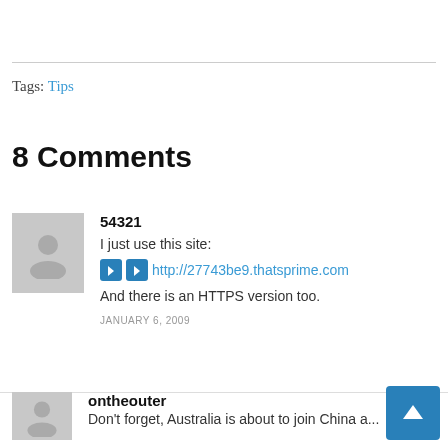Tags: Tips
8 Comments
54321
I just use this site:
➡ ➡ http://27743be9.thatsprime.com
And there is an HTTPS version too.
JANUARY 6, 2009
ontheouter
Don't forget, Australia is about to join China a...